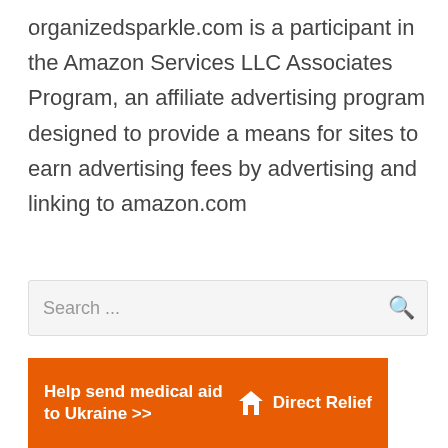organizedsparkle.com is a participant in the Amazon Services LLC Associates Program, an affiliate advertising program designed to provide a means for sites to earn advertising fees by advertising and linking to amazon.com
Search ...
Categories
[Figure (other): Orange advertisement banner: 'Help send medical aid to Ukraine >>' with Direct Relief logo]